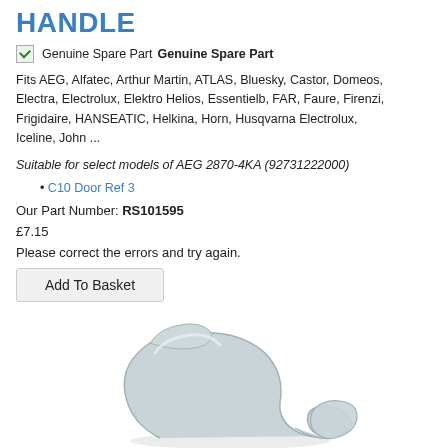HANDLE
Genuine Spare Part Genuine Spare Part
Fits AEG, Alfatec, Arthur Martin, ATLAS, Bluesky, Castor, Domeos, Electra, Electrolux, Elektro Helios, Essentielb, FAR, Faure, Firenzi, Frigidaire, HANSEATIC, Helkina, Horn, Husqvarna Electrolux, Iceline, John ...
Suitable for select models of AEG 2870-4KA (92731222000)
C10 Door Ref 3
Our Part Number: RS101595
£7.15
Please correct the errors and try again.
[Figure (photo): Product photo of a white/light grey plastic handle part, shown from an angle revealing its curved shape.]